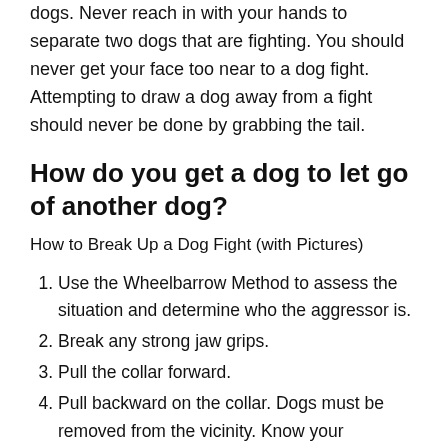dogs. Never reach in with your hands to separate two dogs that are fighting. You should never get your face too near to a dog fight. Attempting to draw a dog away from a fight should never be done by grabbing the tail.
How do you get a dog to let go of another dog?
How to Break Up a Dog Fight (with Pictures)
Use the Wheelbarrow Method to assess the situation and determine who the aggressor is.
Break any strong jaw grips.
Pull the collar forward.
Pull backward on the collar. Dogs must be removed from the vicinity. Know your